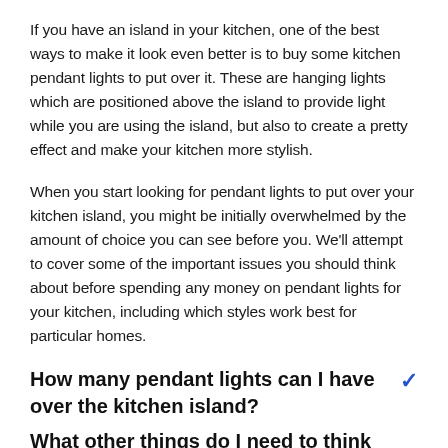If you have an island in your kitchen, one of the best ways to make it look even better is to buy some kitchen pendant lights to put over it. These are hanging lights which are positioned above the island to provide light while you are using the island, but also to create a pretty effect and make your kitchen more stylish.
When you start looking for pendant lights to put over your kitchen island, you might be initially overwhelmed by the amount of choice you can see before you. We'll attempt to cover some of the important issues you should think about before spending any money on pendant lights for your kitchen, including which styles work best for particular homes.
How many pendant lights can I have over the kitchen island?
What other things do I need to think about? (partial, cut off)